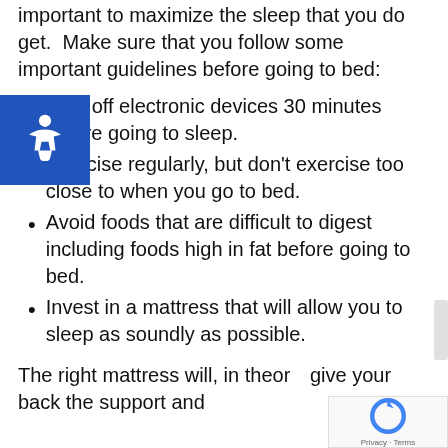important to maximize the sleep that you do get.  Make sure that you follow some important guidelines before going to bed:
Turn off electronic devices 30 minutes before going to sleep.
Exercise regularly, but don't exercise too close to when you go to bed.
Avoid foods that are difficult to digest including foods high in fat before going to bed.
Invest in a mattress that will allow you to sleep as soundly as possible.
The right mattress will, in theory, give your back the support and